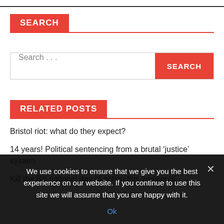SEARCH
Search ...
RELATED POSTS
Bristol riot: what do they expect?
14 years! Political sentencing from a brutal ‘justice’ system
Kill the Bill national day of action this weekend!
We use cookies to ensure that we give you the best experience on our website. If you continue to use this site we will assume that you are happy with it.